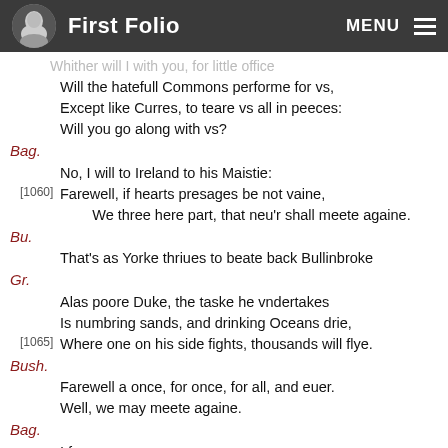First Folio  MENU
Whither will I with you, for little office
Will the hatefull Commons performe for vs,
Except like Curres, to teare vs all in peeces:
Will you go along with vs?
Bag.
No, I will to Ireland to his Maistie:
[1060]Farewell, if hearts presages be not vaine,
We three here part, that neu'r shall meete againe.
Bu.
That's as Yorke thriues to beate back Bullinbroke
Gr.
Alas poore Duke, the taske he vndertakes
Is numbring sands, and drinking Oceans drie,
[1065]Where one on his side fights, thousands will flye.
Bush.
Farewell a once, for once, for all, and euer.
Well, we may meete againe.
Bag.
I feare me neuer.
Exit.
Scæna Tertia. [Act 2, Scene 3]
Enter the Duke of Herford, and Northum berland.
Bul.
How farre is it my Lord to Berkley now?
[1070] Nor.